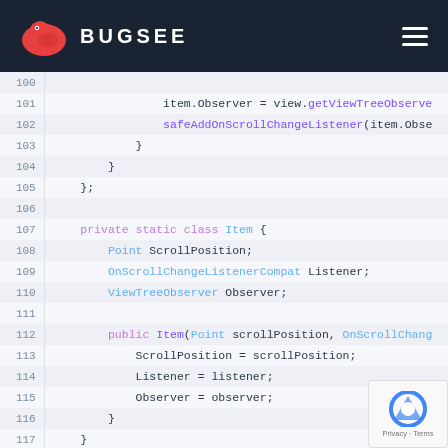BUGSEE
[Figure (screenshot): Code block showing Java/Android code lines 100-118 with syntax highlighting. Lines show item.Observer = view.getViewTreeObserve, safeAddOnScrollChangeListener(item.Obse, closing braces, private static class Item { with fields Point ScrollPosition, OnScrollChangeListenerCompat Listener, ViewTreeObserver Observer, public Item constructor, and field assignments.]
We use WeakHashMap instead of HashMap to avoid pot... memory leaks. View has back reference to its activity, th... strong references might prevent the whole activity from being...